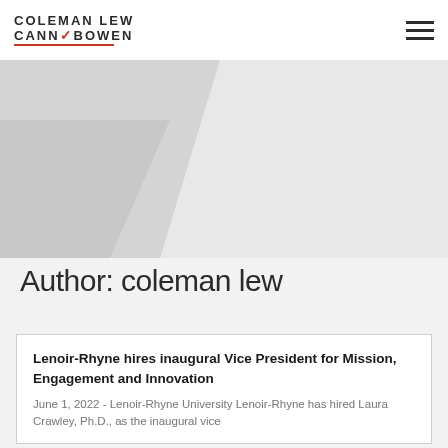COLEMAN LEW | CANNY BOWEN
[Figure (illustration): Light grey geometric polygon/chevron shape decorative banner background]
Author: coleman lew
Lenoir-Rhyne hires inaugural Vice President for Mission, Engagement and Innovation
June 1, 2022 - Lenoir-Rhyne University Lenoir-Rhyne has hired Laura Crawley, Ph.D., as the inaugural vice